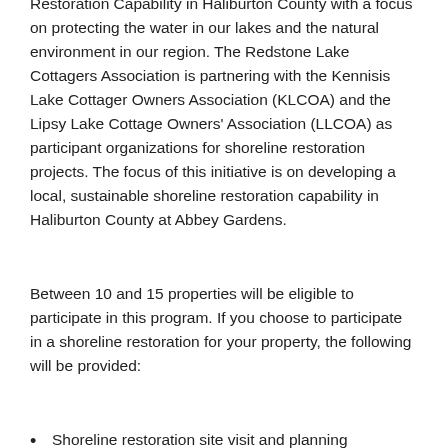Restoration Capability in Haliburton County with a focus on protecting the water in our lakes and the natural environment in our region. The Redstone Lake Cottagers Association is partnering with the Kennisis Lake Cottager Owners Association (KLCOA) and the Lipsy Lake Cottage Owners' Association (LLCOA) as participant organizations for shoreline restoration projects. The focus of this initiative is on developing a local, sustainable shoreline restoration capability in Haliburton County at Abbey Gardens.
Between 10 and 15 properties will be eligible to participate in this program. If you choose to participate in a shoreline restoration for your property, the following will be provided:
Shoreline restoration site visit and planning